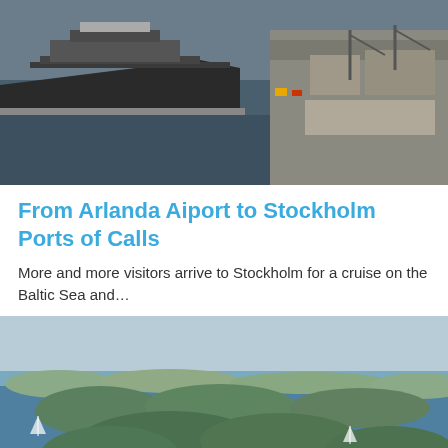[Figure (photo): Aerial view of a cruise ship docked at a port with cargo facilities, cranes, and warehouses visible from above.]
From Arlanda Aiport to Stockholm Ports of Calls
More and more visitors arrive to Stockholm for a cruise on the Baltic Sea and...
[Figure (photo): Aerial view of forested islands in the Stockholm archipelago with blue water and a cruise ship visible in the lower portion.]